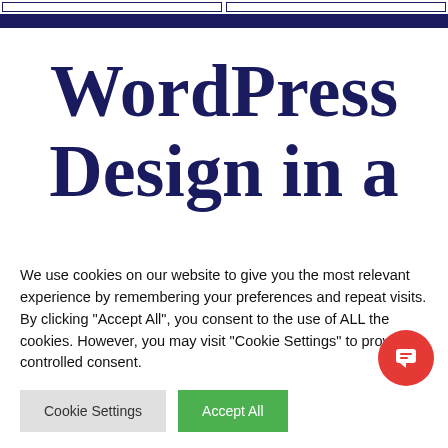WordPress Design in a
We use cookies on our website to give you the most relevant experience by remembering your preferences and repeat visits. By clicking "Accept All", you consent to the use of ALL the cookies. However, you may visit "Cookie Settings" to provide a controlled consent.
Cookie Settings | Accept All